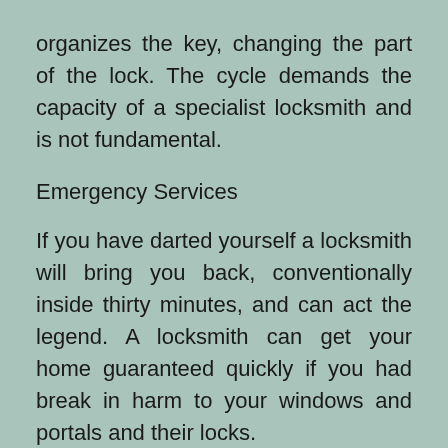organizes the key, changing the part of the lock. The cycle demands the capacity of a specialist locksmith and is not fundamental.
Emergency Services
If you have darted yourself a locksmith will bring you back, conventionally inside thirty minutes, and can act the legend. A locksmith can get your home guaranteed quickly if you had break in harm to your windows and portals and their locks.
Presenting a Keyless System